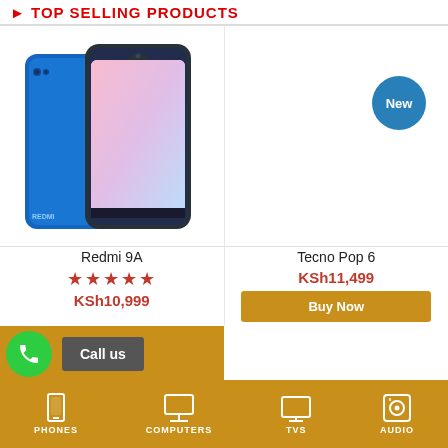TOP SELLING PRODUCTS
[Figure (photo): Blue Redmi 9A smartphone, two views side by side]
New
Redmi 9A
★★★★★
KSh10,999
Tecno Pop 6
KSh11,499
Buy Now
Call us
PHONES   COMPUTERS   TVS   AUDIO